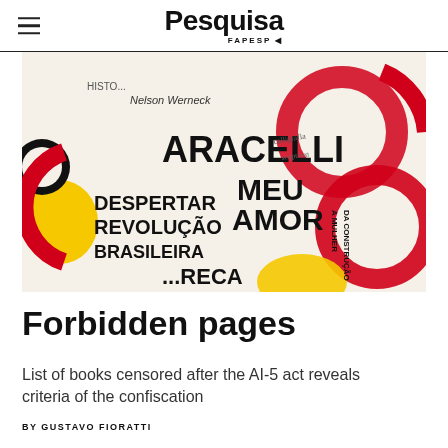Pesquisa FAPESP
[Figure (photo): Close-up collage of book covers with bold red and black text in Portuguese, including titles such as 'Aracelli Meu Amor', 'Despertar da Revolução Brasileira', with red circular graphic elements overlaid on white and yellow backgrounds.]
Forbidden pages
List of books censored after the AI-5 act reveals criteria of the confiscation
BY GUSTAVO FIORATTI